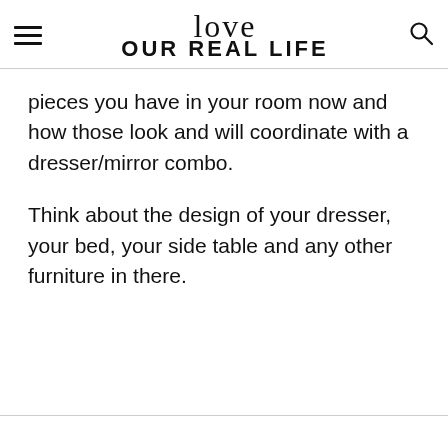love OUR REAL LIFE
pieces you have in your room now and how those look and will coordinate with a dresser/mirror combo.
Think about the design of your dresser, your bed, your side table and any other furniture in there.